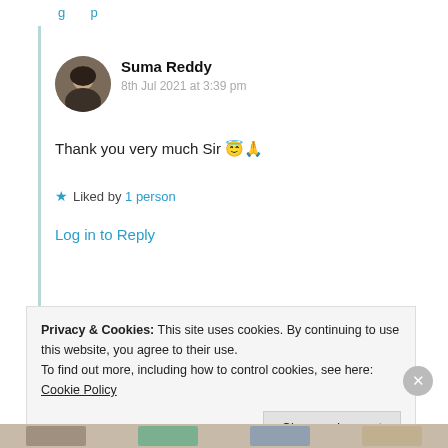Suma Reddy
8th Jul 2021 at 3:39 pm
Thank you very much Sir 😇🙏
★ Liked by 1 person
Log in to Reply
Privacy & Cookies: This site uses cookies. By continuing to use this website, you agree to their use.
To find out more, including how to control cookies, see here: Cookie Policy
Close and accept